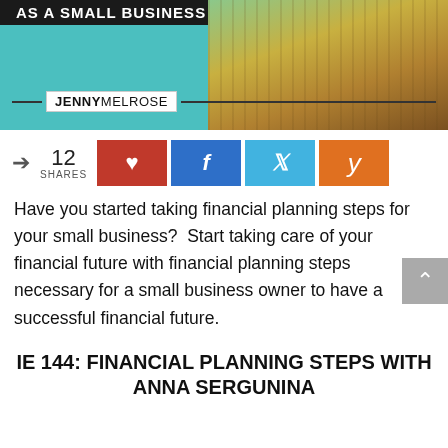[Figure (photo): Blog post hero image with teal background, stacked coins with plants growing from them, and JENNY MELROSE logo bar at bottom. Title bar at top reads 'AS A SMALL BUSINESS'.]
12 SHARES [Pinterest] [Facebook] [Twitter] [Yummly]
Have you started taking financial planning steps for your small business?  Start taking care of your financial future with financial planning steps necessary for a small business owner to have a successful financial future.
IE 144: FINANCIAL PLANNING STEPS WITH ANNA SERGUNINA